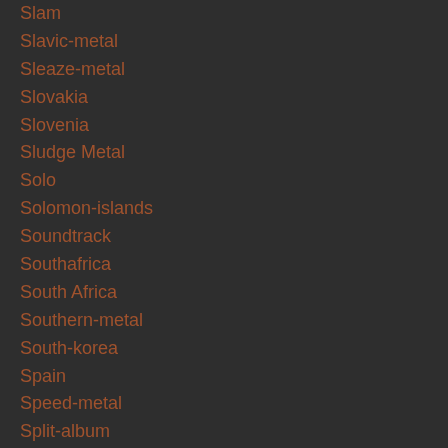Slam
Slavic-metal
Sleaze-metal
Slovakia
Slovenia
Sludge Metal
Solo
Solomon-islands
Soundtrack
Southafrica
South Africa
Southern-metal
South-korea
Spain
Speed-metal
Split-album
Split-up
Sports
Sri-lanka
Stoner Metal
Studio